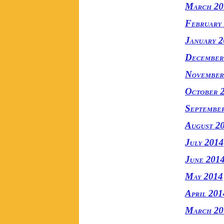[Figure (other): Yellow/gold vertical bar on the left side of the page]
March 2015
February 2015
January 2015
December 2014
November 2014
October 2014
September 2014
August 2014
July 2014
June 2014
May 2014
April 2014
March 2014
February 20...